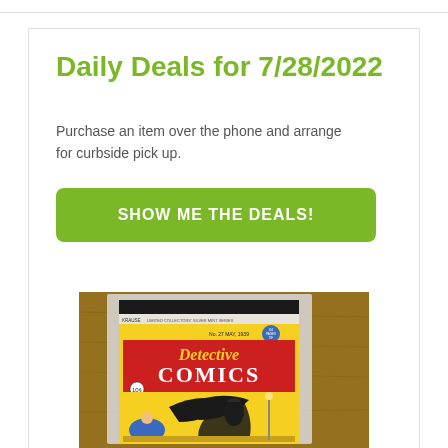Daily Deals for 7/28/2022
Purchase an item over the phone and arrange for curbside pick up.
SHOW ME THE DEALS!
[Figure (photo): Photo of a Detective Comics limited collector's silver mint series comic book cover featuring Batman, displayed on a wooden surface. The cover has a red banner with 'Detective Comics' title and shows Batman swinging.]